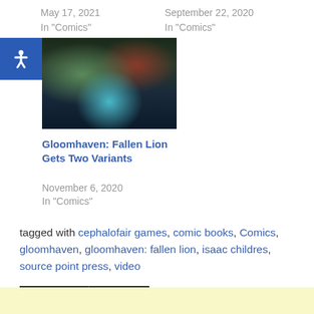May 17, 2021
In "Comics"
September 22, 2020
In "Comics"
[Figure (illustration): Dark fantasy illustration of a creature with tentacles and glowing blue light, from Gloomhaven: Fallen Lion]
Gloomhaven: Fallen Lion Gets Two Variants
November 6, 2020
In "Comics"
tagged with cephalofair games, comic books, Comics, gloomhaven, gloomhaven: fallen lion, isaac childres, source point press, video
Comics   Other